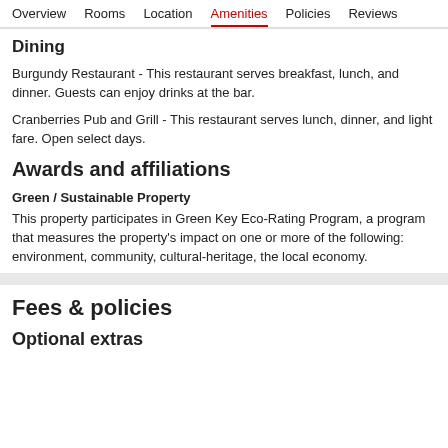Overview  Rooms  Location  Amenities  Policies  Reviews
Dining
Burgundy Restaurant - This restaurant serves breakfast, lunch, and dinner. Guests can enjoy drinks at the bar.
Cranberries Pub and Grill - This restaurant serves lunch, dinner, and light fare. Open select days.
Awards and affiliations
Green / Sustainable Property
This property participates in Green Key Eco-Rating Program, a program that measures the property's impact on one or more of the following: environment, community, cultural-heritage, the local economy.
Fees & policies
Optional extras